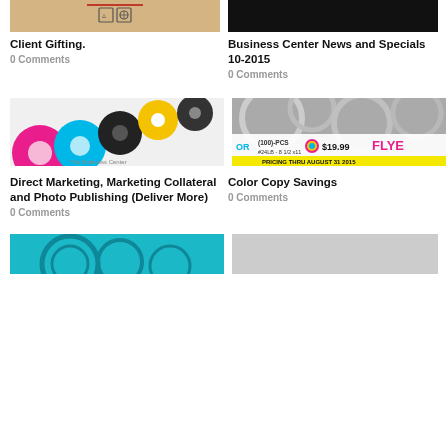[Figure (photo): Partial cardboard box with fragile symbols at top]
[Figure (photo): Black banner/header image]
Client Gifting.
0 Comments
Business Center News and Specials 10-2015
0 Comments
[Figure (photo): Colorful CMYK ink/toner gear wheels with The Business Center logo]
[Figure (photo): Gears/flyer promotion image: (100)-PCS $19.99 FLYERS PRICING THRU AUGUST 31 2015]
Direct Marketing, Marketing Collateral and Photo Publishing (Deliver More)
0 Comments
Color Copy Savings
0 Comments
[Figure (photo): Cyan gears illustration (partial, cut at bottom)]
[Figure (photo): Gray partial image (cut at bottom)]